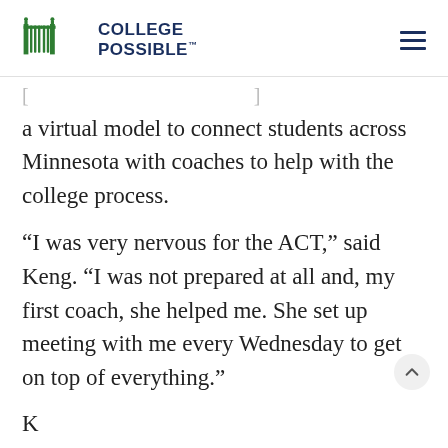College Possible
a virtual model to connect students across Minnesota with coaches to help with the college process.
“I was very nervous for the ACT,” said Keng. “I was not prepared at all and, my first coach, she helped me. She set up meeting with me every Wednesday to get on top of everything.”